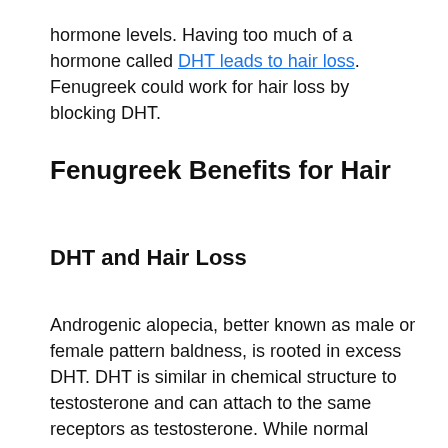hormone levels. Having too much of a hormone called DHT leads to hair loss. Fenugreek could work for hair loss by blocking DHT.
Fenugreek Benefits for Hair
DHT and Hair Loss
Androgenic alopecia, better known as male or female pattern baldness, is rooted in excess DHT. DHT is similar in chemical structure to testosterone and can attach to the same receptors as testosterone. While normal levels of DHT are necessary to certain aspects of health, high levels can contribute hair loss. Excess DHT causes hair follicles to gradually shrink, which slowly lengthens the hair resting phase and shortens the active hair growth